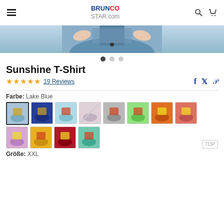BRUNCO STAR.com
[Figure (photo): Partial view of a person wearing jeans, cropped at the waist, holding fabric]
Sunshine T-Shirt
★★★★★ 19 Reviews
Farbe: Lake Blue
[Figure (photo): Color swatches showing 12 color variants of the Sunshine T-Shirt]
Größe: XXL